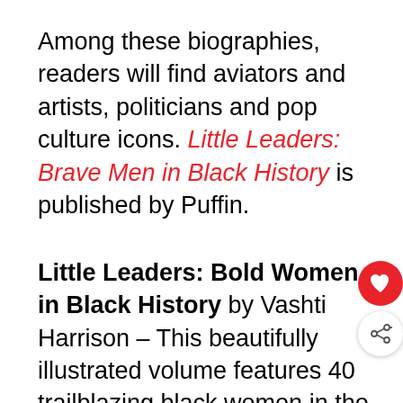Among these biographies, readers will find aviators and artists, politicians and pop culture icons. Little Leaders: Brave Men in Black History is published by Puffin.
Little Leaders: Bold Women in Black History by Vashti Harrison – This beautifully illustrated volume features 40 trailblazing black women in the world's history. This book educates and inspires as it relates true stories of women who broke boundaries and exceeded all expectation. Among these biographies, readers will find stories of both iconic and lesser-known female figures of